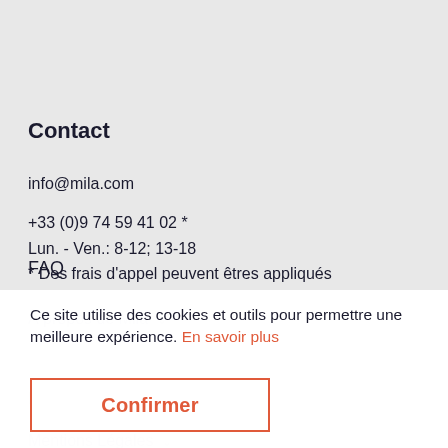Contact
info@mila.com
+33 (0)9 74 59 41 02 *
Lun. - Ven.: 8-12; 13-18
* Des frais d'appel peuvent êtres appliqués
FAQ
Ce site utilise des cookies et outils pour permettre une meilleure expérience. En savoir plus
À propos de Mila
Entrepreneur
Confirmer
Mentions Légales